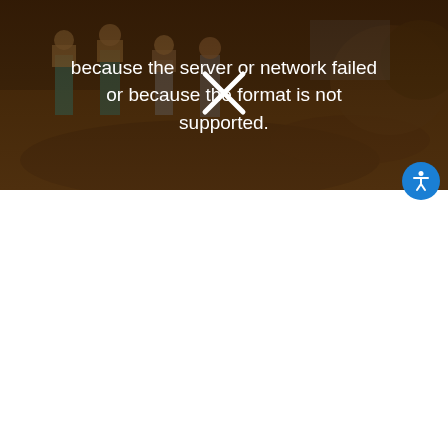[Figure (screenshot): A broken video player showing a dark outdoor scene with people in the background. An error message reads 'because the server or network failed or because the format is not supported.' overlaid on the image with an X icon in the center. A blue accessibility button (person icon) appears in the bottom-right of the player.]